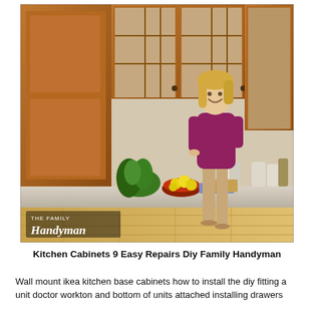[Figure (photo): A woman in a magenta top and khaki pants stands smiling in a kitchen with warm wood cabinets — upper cabinets with glass-pane doors and lower cabinets with drawers. A bowl of lemons sits on the counter. The Family Handyman logo is overlaid in the lower-left corner of the photo.]
Kitchen Cabinets 9 Easy Repairs Diy Family Handyman
Wall mount ikea kitchen base cabinets how to install the diy fitting a unit doctor workton and bottom of units attached installing drawers